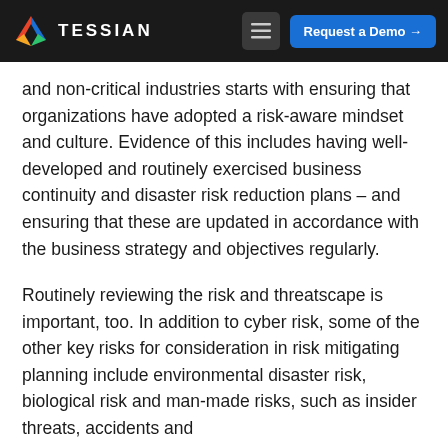TESSIAN — Request a Demo
and non-critical industries starts with ensuring that organizations have adopted a risk-aware mindset and culture. Evidence of this includes having well-developed and routinely exercised business continuity and disaster risk reduction plans – and ensuring that these are updated in accordance with the business strategy and objectives regularly.
Routinely reviewing the risk and threatscape is important, too. In addition to cyber risk, some of the other key risks for consideration in risk mitigating planning include environmental disaster risk, biological risk and man-made risks, such as insider threats, accidents and